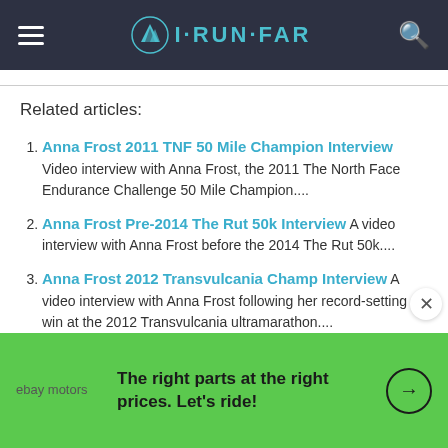I·RUN·FAR
Related articles:
Anna Frost 2011 TNF 50 Mile Champion Interview Video interview with Anna Frost, the 2011 The North Face Endurance Challenge 50 Mile Champion....
Anna Frost Pre-2014 The Rut 50k Interview A video interview with Anna Frost before the 2014 The Rut 50k....
Anna Frost 2012 Transvulcania Champ Interview A video interview with Anna Frost following her record-setting win at the 2012 Transvulcania ultramarathon....
[Figure (screenshot): eBay Motors advertisement banner with green background. Text reads: 'The right parts at the right prices. Let's ride!' with an arrow circle icon and ebay motors logo.]